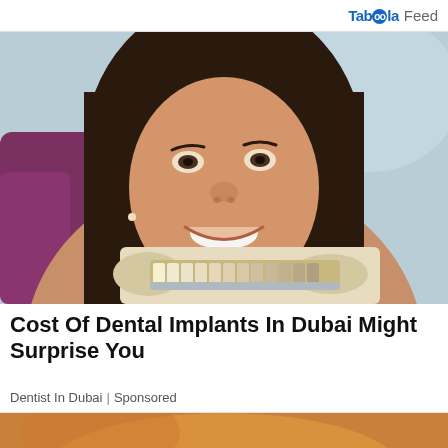Taboola Feed
[Figure (photo): A smiling young woman with long dark hair sitting in a dental chair, while a gloved dentist holds a tooth shade guide near her mouth. Purple dental chair visible in background.]
Cost Of Dental Implants In Dubai Might Surprise You
Dentist In Dubai | Sponsored
[Figure (photo): Partial view of a second article image showing a warm orange/golden toned photo, partially visible at bottom of page.]